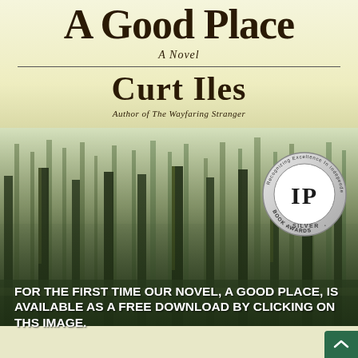A Good Place
A Novel
Curt Iles
Author of The Wayfaring Stranger
[Figure (photo): Forest scene book cover with tall trees in misty background, with Independent Publisher Book Awards Silver badge overlay]
FOR THE FIRST TIME OUR NOVEL, A GOOD PLACE, IS AVAILABLE AS A FREE DOWNLOAD BY CLICKING ON THS IMAGE.